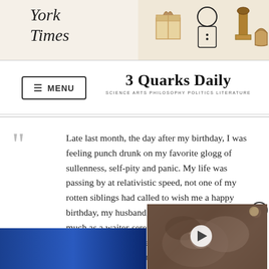York
Times
[Figure (illustration): Decorative banner illustration with food items and a figure wearing a bow tie]
3 Quarks Daily
SCIENCE ARTS PHILOSOPHY POLITICS LITERATURE
Late last month, the day after my birthday, I was feeling punch drunk on my favorite glogg of sullenness, self-pity and panic. My life was passing by at relativistic speed, not one of my rotten siblings had called to wish me a happy birthday, my husband hadn't bothered to arrange so much as a waiter-serenaded slice of cake at the restaurant the night before, and did he really think that his gift to me of an “amazing squirrel-pro[…] anybody but the squirrel[…]
[Figure (photo): Video thumbnail showing what appears to be an animal, with a play button overlay]
[Figure (photo): Bottom partial image showing a blue background with partial face]